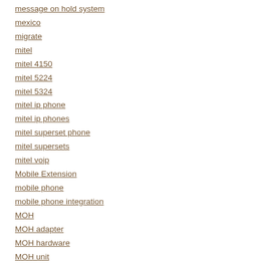message on hold system
mexico
migrate
mitel
mitel 4150
mitel 5224
mitel 5324
mitel ip phone
mitel ip phones
mitel superset phone
mitel supersets
mitel voip
Mobile Extension
mobile phone
mobile phone integration
MOH
MOH adapter
MOH hardware
MOH unit